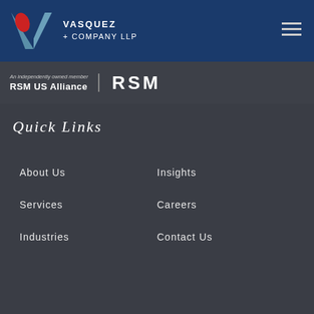[Figure (logo): Vasquez + Company LLP logo with V chevron in teal and red, and company name text]
[Figure (logo): RSM US Alliance member logo with RSM text on dark banner]
Quick Links
About Us
Insights
Services
Careers
Industries
Contact Us